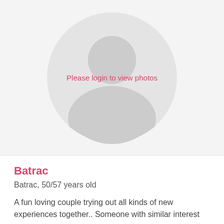[Figure (illustration): Default user avatar placeholder showing a grey silhouette of a person inside a light grey circle, with text overlay 'Please login to view photos' in pink/red color]
Batrac
Batrac, 50/57 years old
A fun loving couple trying out all kinds of new experiences together.. Someone with similar interest